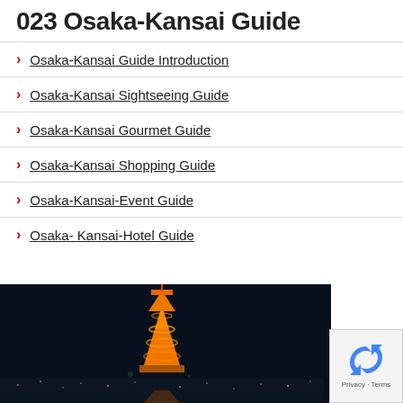023 Osaka-Kansai Guide
Osaka-Kansai Guide Introduction
Osaka-Kansai Sightseeing Guide
Osaka-Kansai Gourmet Guide
Osaka-Kansai Shopping Guide
Osaka-Kansai-Event Guide
Osaka- Kansai-Hotel Guide
[Figure (photo): Nighttime photo of Kobe Port Tower illuminated in orange against a dark sky, with city lights reflected below. A reCAPTCHA privacy overlay appears in the bottom right corner.]